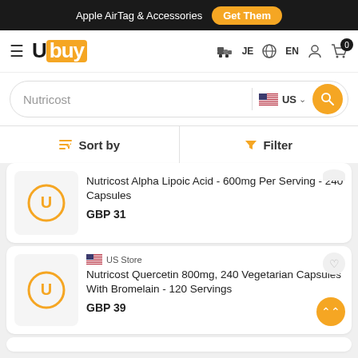Apple AirTag & Accessories  Get Them
[Figure (logo): Ubuy logo with hamburger menu icon and navigation icons (JE, EN, user, cart with 0 badge)]
Nutricost (search bar with US flag and search button)
Sort by   Filter
Nutricost Alpha Lipoic Acid - 600mg Per Serving - 240 Capsules
GBP 31
US Store
Nutricost Quercetin 800mg, 240 Vegetarian Capsules With Bromelain - 120 Servings
GBP 39